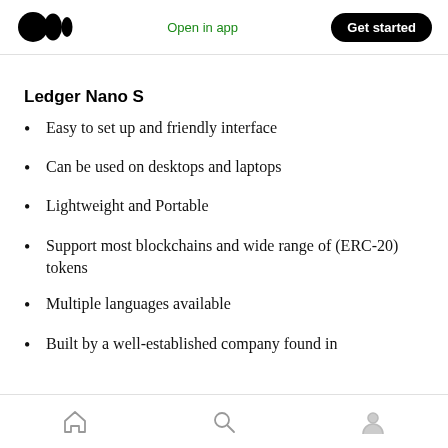Open in app | Get started
Ledger Nano S
Easy to set up and friendly interface
Can be used on desktops and laptops
Lightweight and Portable
Support most blockchains and wide range of (ERC-20) tokens
Multiple languages available
Built by a well-established company found in
Home | Search | Profile